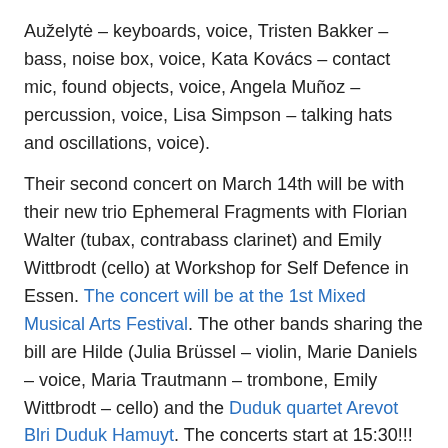Auželytė – keyboards, voice, Tristen Bakker – bass, noise box, voice, Kata Kovács – contact mic, found objects, voice, Angela Muñoz – percussion, voice, Lisa Simpson – talking hats and oscillations, voice).
Their second concert on March 14th will be with their new trio Ephemeral Fragments with Florian Walter (tubax, contrabass clarinet) and Emily Wittbrodt (cello) at Workshop for Self Defence in Essen. The concert will be at the 1st Mixed Musical Arts Festival. The other bands sharing the bill are Hilde (Julia Brüssel – violin, Marie Daniels – voice, Maria Trautmann – trombone, Emily Wittbrodt – cello) and the Duduk quartet Arevot Blri Duduk Hamuyt. The concerts start at 15:30!!!
THE REMAINING CONCERTS BELOW IN MARCH ARE ALL CANCELLED DUE TO CORONAVIRUS (COVID-19)